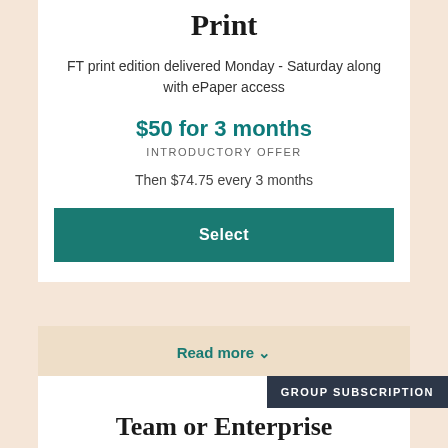Print
FT print edition delivered Monday - Saturday along with ePaper access
$50 for 3 months
INTRODUCTORY OFFER
Then $74.75 every 3 months
Select
Read more ∨
GROUP SUBSCRIPTION
Team or Enterprise
Premium FT.com access for multiple users, with